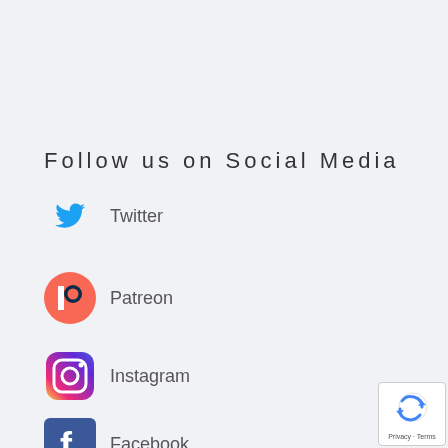Follow us on Social Media
Twitter
Patreon
Instagram
Facebook
[Figure (logo): reCAPTCHA badge with Privacy and Terms text]